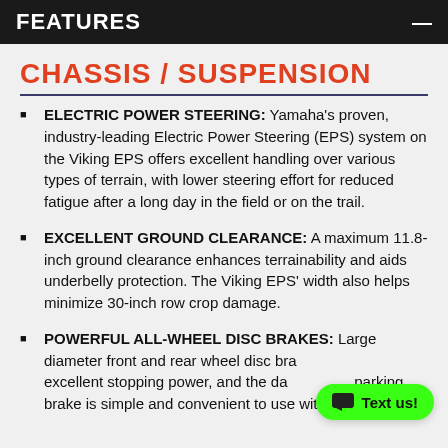FEATURES
CHASSIS / SUSPENSION
ELECTRIC POWER STEERING: Yamaha's proven, industry-leading Electric Power Steering (EPS) system on the Viking EPS offers excellent handling over various types of terrain, with lower steering effort for reduced fatigue after a long day in the field or on the trail.
EXCELLENT GROUND CLEARANCE: A maximum 11.8-inch ground clearance enhances terrainability and aids underbelly protection. The Viking EPS' width also helps minimize 30-inch row crop damage.
POWERFUL ALL-WHEEL DISC BRAKES: Large diameter front and rear wheel disc brakes provide excellent stopping power, and the dual-mode parking brake is simple and convenient to use with one or two certifications along with the additional brake.